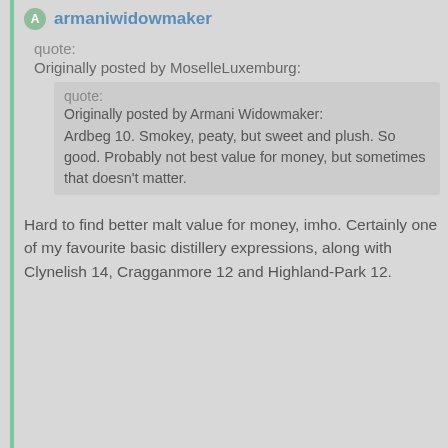armaniwidowmaker
quote:
Originally posted by MoselleLuxemburg:
quote:
Originally posted by Armani Widowmaker:
Ardbeg 10. Smokey, peaty, but sweet and plush. So good. Probably not best value for money, but sometimes that doesn't matter.
Hard to find better malt value for money, imho. Certainly one of my favourite basic distillery expressions, along with Clynelish 14, Cragganmore 12 and Highland-Park 12.